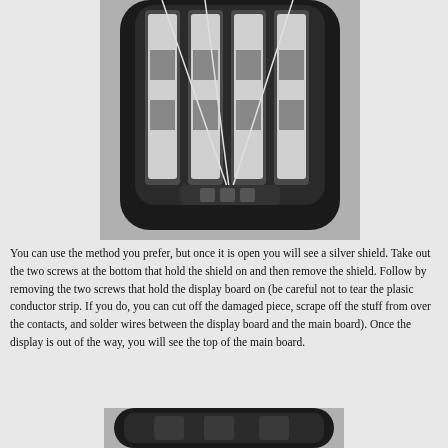[Figure (photo): Close-up photograph of an open electronic device showing battery compartment or internal components with wires, dark plastic housing, viewed from above.]
You can use the method you prefer, but once it is open you will see a silver shield. Take out the two screws at the bottom that hold the shield on and then remove the shield. Follow by removing the two screws that hold the display board on (be careful not to tear the plasic conductor strip. If you do, you can cut off the damaged piece, scrape off the stuff from over the contacts, and solder wires between the display board and the main board). Once the display is out of the way, you will see the top of the main board.
[Figure (photo): Partial photograph of an electronic device, dark colored, showing the bottom portion of the device.]